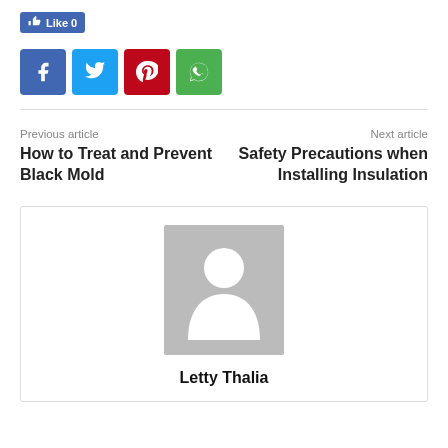[Figure (other): Facebook Like button showing 'Like 0' count with thumbs up icon on blue background]
[Figure (other): Social sharing icons: Facebook (blue), Twitter (light blue), Pinterest (red), WhatsApp (green)]
Previous article
How to Treat and Prevent Black Mold
Next article
Safety Precautions when Installing Insulation
[Figure (other): Author avatar placeholder: gray rectangle with white silhouette of a person (head and shoulders)]
Letty Thalia